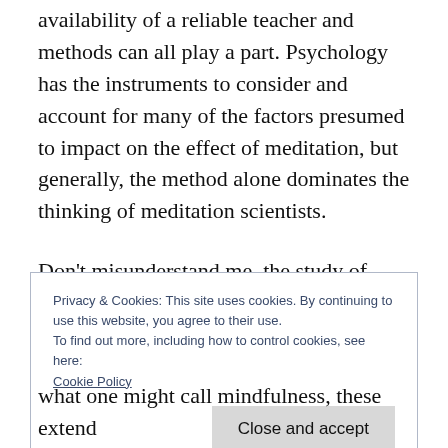availability of a reliable teacher and methods can all play a part. Psychology has the instruments to consider and account for many of the factors presumed to impact on the effect of meditation, but generally, the method alone dominates the thinking of meditation scientists.
Don't misunderstand me, the study of MBSR and related families of mindfulness are legitimate objects of clinical enquiry and
Privacy & Cookies: This site uses cookies. By continuing to use this website, you agree to their use.
To find out more, including how to control cookies, see here:
Cookie Policy
Close and accept
what one might call mindfulness, these extend